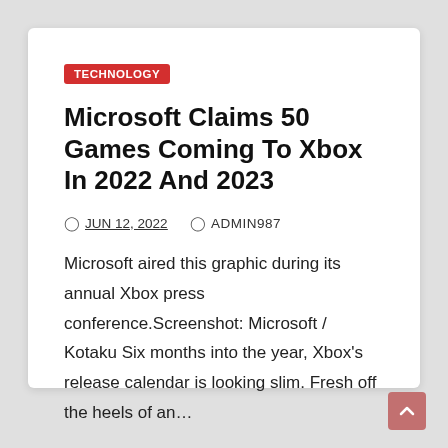TECHNOLOGY
Microsoft Claims 50 Games Coming To Xbox In 2022 And 2023
JUN 12, 2022   ADMIN987
Microsoft aired this graphic during its annual Xbox press conference.Screenshot: Microsoft / Kotaku Six months into the year, Xbox's release calendar is looking slim. Fresh off the heels of an…